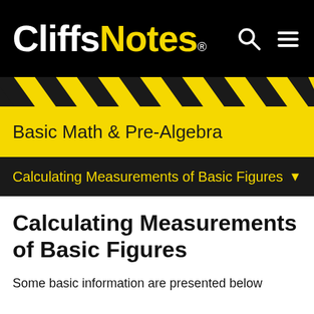CliffsNotes®
Basic Math & Pre-Algebra
Calculating Measurements of Basic Figures
Calculating Measurements of Basic Figures
Some basic information are presented below